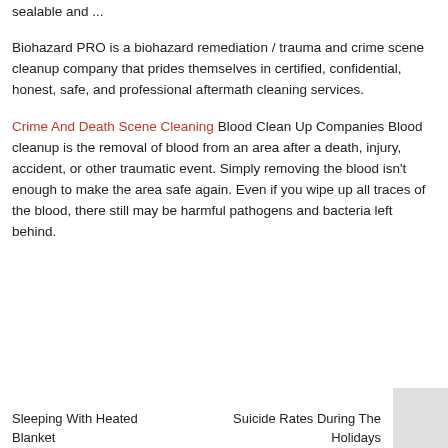sealable and ...
Biohazard PRO is a biohazard remediation / trauma and crime scene cleanup company that prides themselves in certified, confidential, honest, safe, and professional aftermath cleaning services.
Crime And Death Scene Cleaning Blood Clean Up Companies Blood cleanup is the removal of blood from an area after a death, injury, accident, or other traumatic event. Simply removing the blood isn't enough to make the area safe again. Even if you wipe up all traces of the blood, there still may be harmful pathogens and bacteria left behind.
Sleeping With Heated Blanket
Suicide Rates During The Holidays